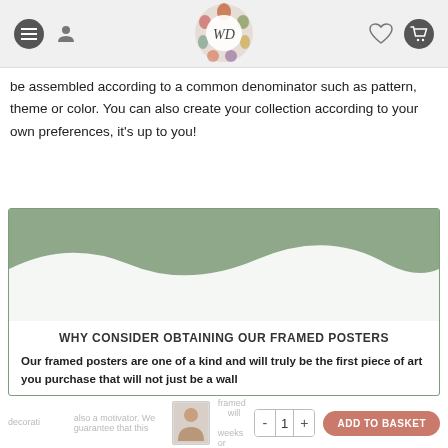Website header with menu, user, logo (WD), heart, and cart icons
be assembled according to a common denominator such as pattern, theme or color. You can also create your collection according to your own preferences, it's up to you!
[Figure (illustration): Green sage-colored wave decorative banner with white wavy shape at bottom]
WHY CONSIDER OBTAINING OUR FRAMED POSTERS
Our framed posters are one of a kind and will truly be the first piece of art you purchase that will not just be a wall
decorati  also a motivator. We guarantee that this framed  will  weeks or even months have passed. Our posters bound to be